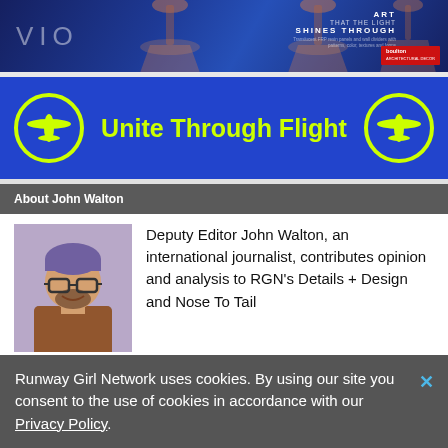[Figure (photo): VIO top banner advertisement with blue gradient background, spotlight lamps, text 'ART THAT THE LIGHT SHINES THROUGH', and Boulton logo]
[Figure (logo): Unite Through Flight blue banner with yellow-green peace/airplane symbols on each side and yellow-green title text 'Unite Through Flight']
About John Walton
[Figure (photo): Photo of John Walton, a man with purple-tinted hair, beard, and glasses, smiling]
Deputy Editor John Walton, an international journalist, contributes opinion and analysis to RGN's Details + Design and Nose To Tail columns. He specializes in cabin interiors, seating, connectivity, and premium class service. A keen analyst of
Runway Girl Network uses cookies. By using our site you consent to the use of cookies in accordance with our Privacy Policy.